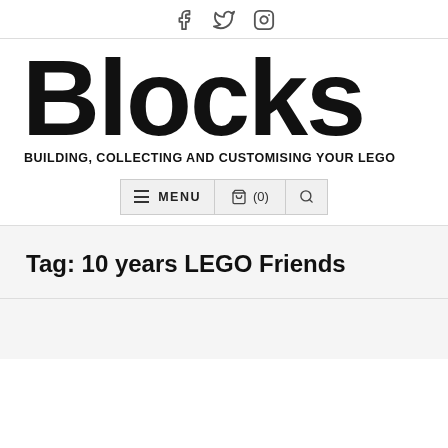Social icons: Facebook, Twitter, Instagram
[Figure (logo): Blocks magazine logo — large bold text reading 'Blocks' with tagline 'BUILDING, COLLECTING AND CUSTOMISING YOUR LEGO']
[Figure (other): Navigation bar with hamburger menu button labeled MENU, shopping bag icon with (0), and search icon]
Tag: 10 years LEGO Friends